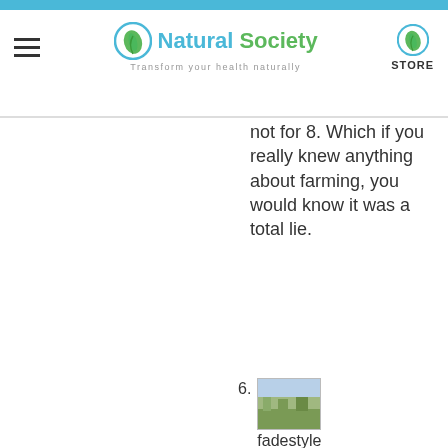Natural Society — Transform your health naturally | STORE
not for 8. Which if you really knew anything about farming, you would know it was a total lie.
6. fadestyle says: